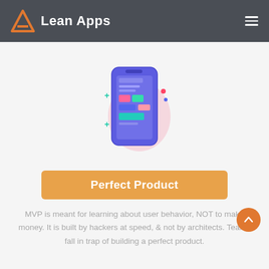Lean Apps
[Figure (illustration): Smartphone illustration showing a mobile app UI with colorful blocks (pink, green, blue, purple), surrounded by decorative plus signs and dots on a soft pink background blob]
Perfect Product
MVP is meant for learning about user behavior, NOT to make money. It is built by hackers at speed, & not by architects. Teams fall in trap of building a perfect product.